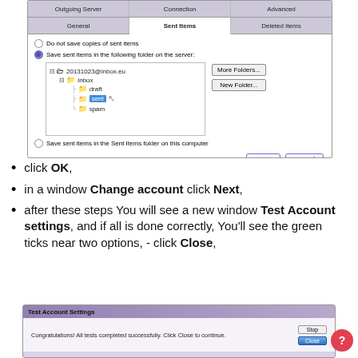[Figure (screenshot): Windows email account settings dialog showing 'Sent Items' tab with folder tree. Options for saving sent items. Folder tree shows 20131023@inbox.eu with Inbox containing draft, sent (selected/highlighted in blue), and spam folders. Buttons: More Folders..., New Folder..., OK, Cancel.]
click OK,
in a window Change account click Next,
after these steps You will see a new window Test Account settings, and if all is done correctly, You'll see the green ticks near two options, - click Close,
[Figure (screenshot): Test Account Settings dialog showing 'Congratulations! All tests completed successfully. Click Close to continue.' with Stop and Close buttons.]